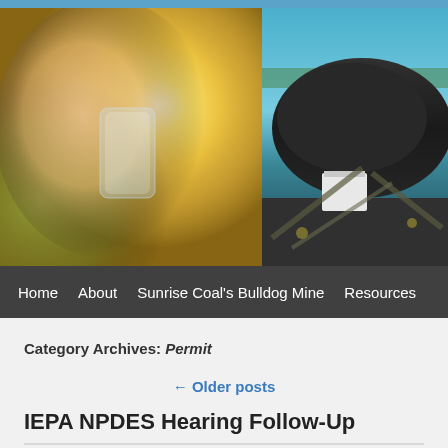[Figure (photo): Child drinking water from a glass, backlit with sunlight, warm golden tones]
[Figure (photo): Aerial view of coal mine operations with large dark coal pile, conveyor belts, and machinery; blue sky in background]
Home | About | Sunrise Coal's Bulldog Mine | Resources
Category Archives: Permit
← Older posts
IEPA NPDES Hearing Follow-Up